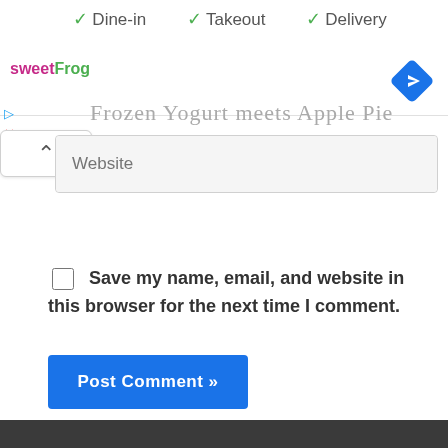✓ Dine-in  ✓ Takeout  ✓ Delivery
[Figure (logo): sweetFrog logo in pink and green text]
[Figure (other): Blue diamond navigation/directions icon]
Frozen Yogurt meets Apple Pie
Website (input field placeholder)
Save my name, email, and website in this browser for the next time I comment.
Post Comment »